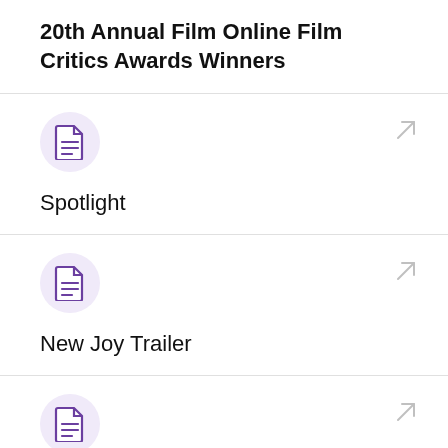20th Annual Film Online Film Critics Awards Winners
Spotlight
New Joy Trailer
(third card, partially visible)